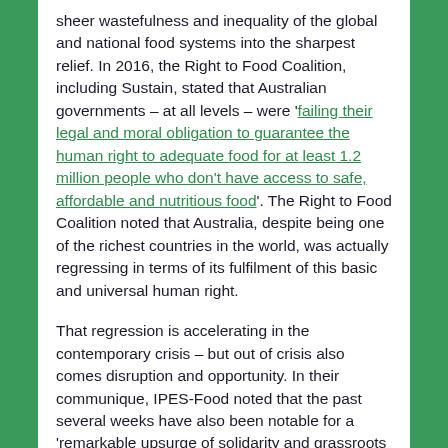sheer wastefulness and inequality of the global and national food systems into the sharpest relief. In 2016, the Right to Food Coalition, including Sustain, stated that Australian governments – at all levels – were 'failing their legal and moral obligation to guarantee the human right to adequate food for at least 1.2 million people who don't have access to safe, affordable and nutritious food'. The Right to Food Coalition noted that Australia, despite being one of the richest countries in the world, was actually regressing in terms of its fulfilment of this basic and universal human right.
That regression is accelerating in the contemporary crisis – but out of crisis also comes disruption and opportunity. In their communique, IPES-Food noted that the past several weeks have also been notable for a 'remarkable upsurge of solidarity and grassroots activism' in many places around the world. The crisis has thus 'offered a glimpse of what new and more resilient food systems